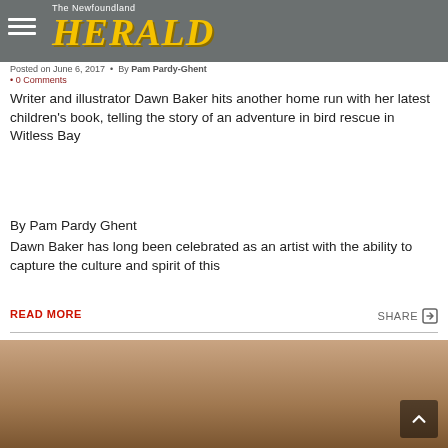The Newfoundland Herald
Posted on June 6, 2017 · By Pam Pardy-Ghent
0 Comments
Writer and illustrator Dawn Baker hits another home run with her latest children's book, telling the story of an adventure in bird rescue in Witless Bay
By Pam Pardy Ghent
Dawn Baker has long been celebrated as an artist with the ability to capture the culture and spirit of this
READ MORE
SHARE
[Figure (photo): Partial view of a person, bottom of the page]